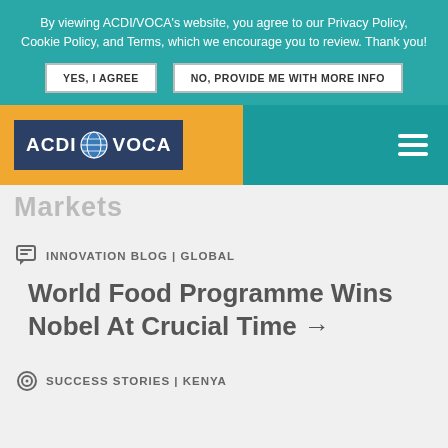By viewing ACDI/VOCA's website, you agree to our Privacy Policy, Cookie Policy, and Terms, which we encourage you to review. Thank you!
YES, I AGREE
NO, PROVIDE ME WITH MORE INFO
[Figure (logo): ACDI/VOCA logo with globe icon on dark blue background, set on orange/gold navigation bar with teal hamburger menu area]
Markets
INNOVATION BLOG | GLOBAL
World Food Programme Wins Nobel At Crucial Time →
SUCCESS STORIES | KENYA